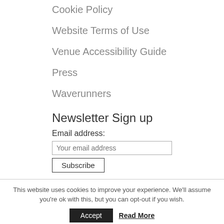Cookie Policy
Website Terms of Use
Venue Accessibility Guide
Press
Waverunners
Newsletter Sign up
Email address:
Your email address
Subscribe
This website uses cookies to improve your experience. We'll assume you're ok with this, but you can opt-out if you wish.
Accept
Read More